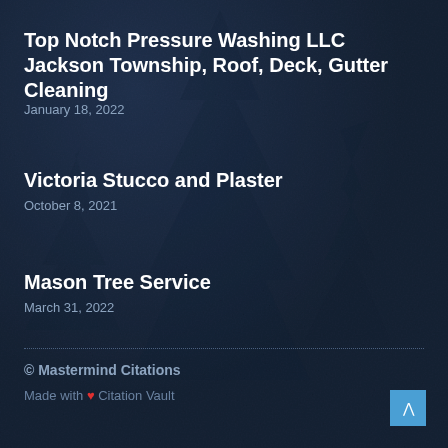Top Notch Pressure Washing LLC Jackson Township, Roof, Deck, Gutter Cleaning
January 18, 2022
Victoria Stucco and Plaster
October 8, 2021
Mason Tree Service
March 31, 2022
© Mastermind Citations
Made with ❤ Citation Vault